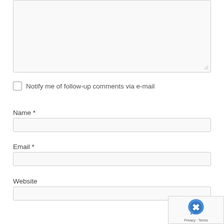[Figure (screenshot): Comment textarea input box (partially visible, empty, with resize handle at bottom right)]
Notify me of follow-up comments via e-mail
Name *
[Figure (screenshot): Name text input field, empty]
Email *
[Figure (screenshot): Email text input field, empty]
Website
[Figure (screenshot): Website text input field, empty]
[Figure (screenshot): reCAPTCHA badge with Privacy and Terms links]